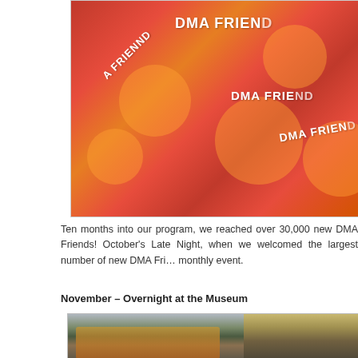[Figure (photo): Pile of orange/red DMA Friends badges with silhouette figures and text 'DMA FRIEND']
Ten months into our program, we reached over 30,000 new DMA Friends! October's Late Night, when we welcomed the largest number of new DMA Friends to the monthly event.
November – Overnight at the Museum
[Figure (photo): Two photos: left shows colorful glass art installation in museum lobby; right shows people in a museum gallery at night]